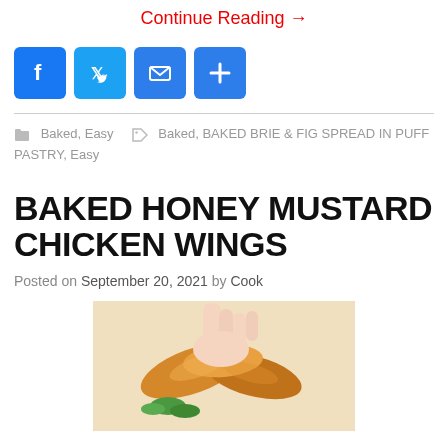Continue Reading →
[Figure (other): Social sharing icons: Facebook, Twitter, Email, Share/Plus]
Baked, Easy   Baked, BAKED BRIE & FIG SPREAD IN PUFF PASTRY, Easy
BAKED HONEY MUSTARD CHICKEN WINGS
Posted on September 20, 2021 by Cook
[Figure (photo): Photo of baked honey mustard chicken wings being held, with green vegetables in background]